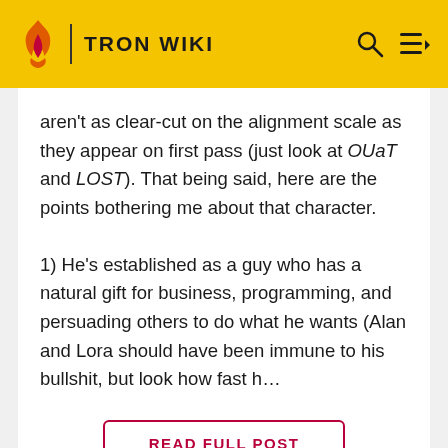TRON WIKI
aren't as clear-cut on the alignment scale as they appear on first pass (just look at OUaT and LOST). That being said, here are the points bothering me about that character.
1) He's established as a guy who has a natural gift for business, programming, and persuading others to do what he wants (Alan and Lora should have been immune to his bullshit, but look how fast h…
READ FULL POST